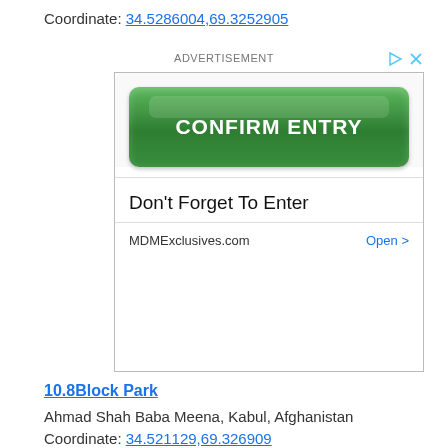Coordinate: 34.5286004,69.3252905
ADVERTISEMENT
[Figure (screenshot): Advertisement banner showing a green 'CONFIRM ENTRY' button, text 'Don't Forget To Enter', and MDMExclusives.com with Open > link]
10.8Block Park
Ahmad Shah Baba Meena, Kabul, Afghanistan
Coordinate: 34.521129,69.326909